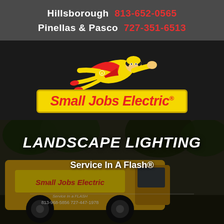Hillsborough  813-652-0565
Pinellas & Pasco  727-351-6513
[Figure (logo): Small Jobs Electric logo with superhero figure flying in yellow suit and red cape above yellow badge with red italic text 'Small Jobs Electric®']
[Figure (photo): Small Jobs Electric branded van parked outdoors with trees in background, showing company name, phone numbers 813-968-5856 and 727-447-1978, and 'Service In A Flash' text on van]
LANDSCAPE LIGHTING
Service In A Flash®
[Figure (illustration): Red rounded rectangle hamburger menu button with three white horizontal bars]